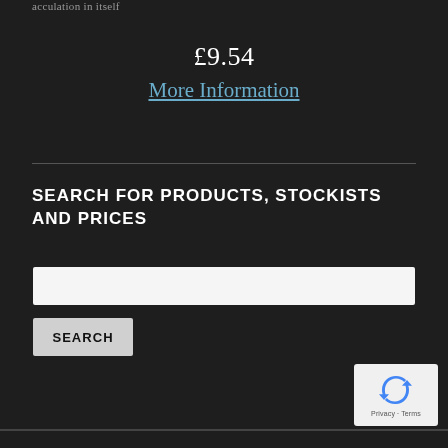acculation in itself
£9.54
More Information
SEARCH FOR PRODUCTS, STOCKISTS AND PRICES
[Figure (screenshot): A white search input text field]
[Figure (screenshot): A light grey SEARCH button]
[Figure (screenshot): Google reCAPTCHA widget showing rotating arrows logo and Privacy/Terms text]